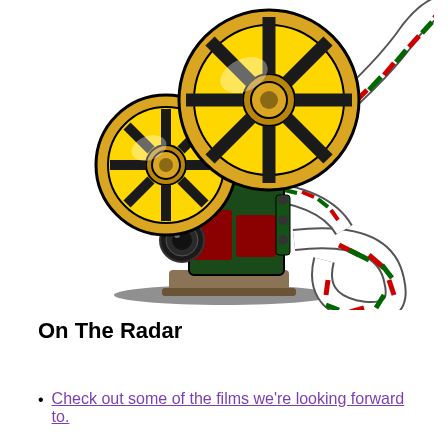[Figure (illustration): Illustrated film projector with two large yellow film reels, a green and red projector body, and a curling strip of film with alternating red, white, and green segments flowing from the reels.]
On The Radar
Check out some of the films we're looking forward to.